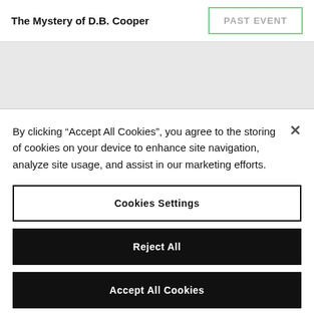The Mystery of D.B. Cooper
PAST EVENT
By clicking “Accept All Cookies”, you agree to the storing of cookies on your device to enhance site navigation, analyze site usage, and assist in our marketing efforts.
Cookies Settings
Reject All
Accept All Cookies